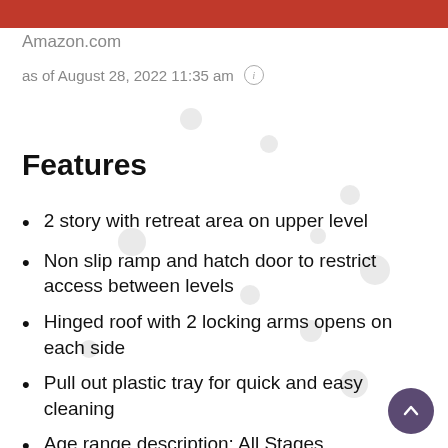[Figure (other): Red banner at top of page, partially visible]
Amazon.com
as of August 28, 2022 11:35 am ⓘ
Features
2 story with retreat area on upper level
Non slip ramp and hatch door to restrict access between levels
Hinged roof with 2 locking arms opens on each side
Pull out plastic tray for quick and easy cleaning
Age range description: All Stages